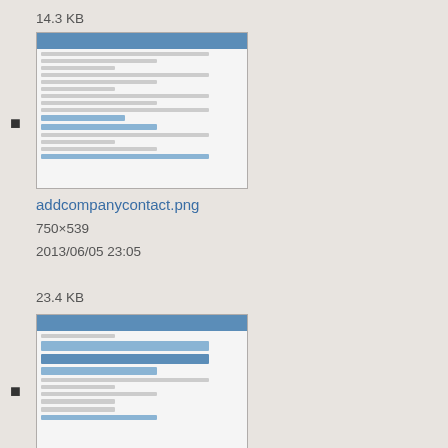14.3 KB
[Figure (screenshot): Thumbnail screenshot of addcompanycontact.png showing a form interface with blue header bar]
addcompanycontact.png
750×539
2013/06/05 23:05
23.4 KB
[Figure (screenshot): Thumbnail screenshot of addgroupmanagementpic1.png showing a management interface with blue highlighted rows]
addgroupmanagementpic1.png
987×713
2014/02/12 23:00
20.7 KB
advanced_settings.png
344×246
2013/10/09 18:03
9.1 KB